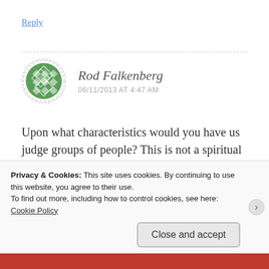Reply
[Figure (illustration): Green geometric avatar icon for user Rod Falkenberg, circular with dashed border]
Rod Falkenberg
06/11/2013 AT 4:47 AM
Upon what characteristics would you have us judge groups of people? This is not a spiritual judgement, it's a practical one. Islam is an enemy of the West. I guess to you a terrorist is one who commits a terrorist act. That
Privacy & Cookies: This site uses cookies. By continuing to use this website, you agree to their use.
To find out more, including how to control cookies, see here: Cookie Policy
Close and accept